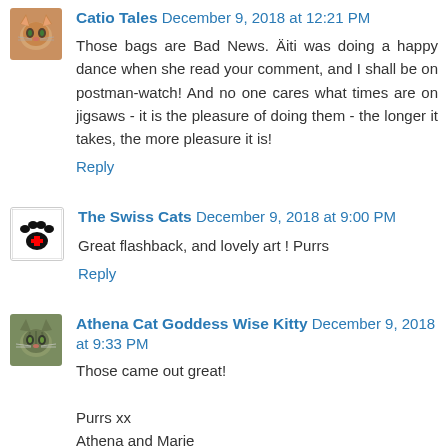[Figure (photo): Avatar photo of a cat (orange/tan) for Catio Tales commenter]
Catio Tales December 9, 2018 at 12:21 PM
Those bags are Bad News. Äiti was doing a happy dance when she read your comment, and I shall be on postman-watch! And no one cares what times are on jigsaws - it is the pleasure of doing them - the longer it takes, the more pleasure it is!
Reply
[Figure (illustration): Paw print logo with red Swiss cross for The Swiss Cats commenter]
The Swiss Cats December 9, 2018 at 9:00 PM
Great flashback, and lovely art ! Purrs
Reply
[Figure (photo): Avatar photo of a tabby cat for Athena Cat Goddess Wise Kitty commenter]
Athena Cat Goddess Wise Kitty December 9, 2018 at 9:33 PM
Those came out great!

Purrs xx
Athena and Marie